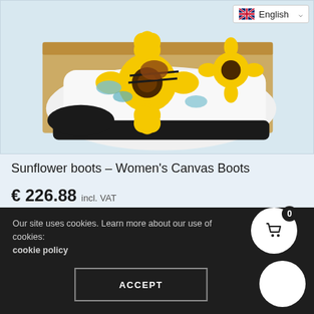[Figure (photo): Sunflower-printed women's canvas boots on a brown cardboard box background, with an English language selector in the top right corner]
Sunflower boots – Women's Canvas Boots
€ 226.88 incl. VAT
Our site uses cookies. Learn more about our use of cookies: cookie policy
ACCEPT